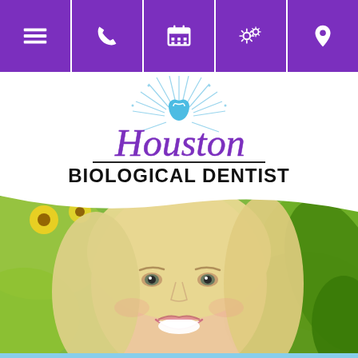[Figure (screenshot): Navigation bar with 5 purple buttons: hamburger menu, phone, calendar, settings/gear, and location pin icons on purple background]
[Figure (logo): Houston Biological Dentist logo with decorative sunburst rays in light blue, script 'Houston' text in purple gradient, tooth icon in blue, and 'BIOLOGICAL DENTIST' in bold black serif below]
[Figure (photo): Smiling blonde woman with white teeth outdoors surrounded by green leaves and yellow sunflowers in background, natural and bright setting]